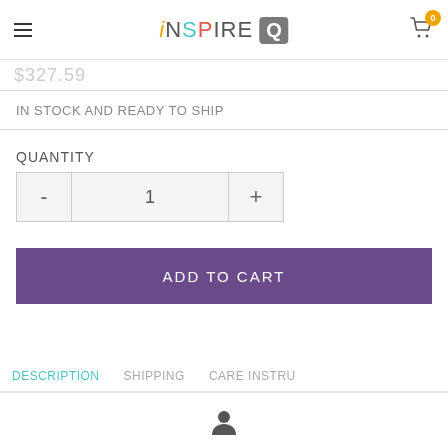iNSPIRE Q (logo with cart icon showing 0 items)
IN STOCK AND READY TO SHIP
QUANTITY
- 1 +
ADD TO CART
DESCRIPTION   SHIPPING   CARE INSTRU...